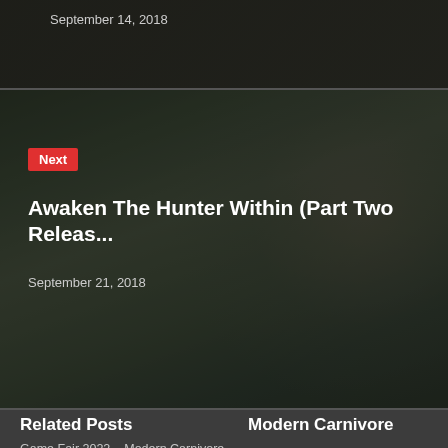September 14, 2018
[Figure (photo): Dark banner image with a person's face partially visible, overlaid with navigation text 'Next', article title, and date]
Next
Awaken The Hunter Within (Part Two Releas...
September 21, 2018
Related Posts
Game Fair 2022 – Modern Carnivore Podcast – (EP:044)
Self-Reliance – Modern Carnivore Podcast – (EP:043)
Modern Carnivore
Our mission is to awaken the hunter that lives inside you. We introduce people to hunting, fishing and foraging to promote a deeper understanding of wild places to them.
Privacy & Cookies Policy